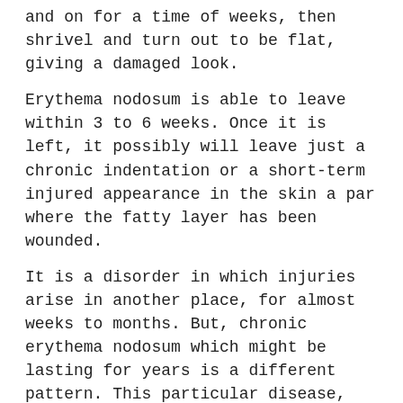and on for a time of weeks, then shrivel and turn out to be flat, giving a damaged look.
Erythema nodosum is able to leave within 3 to 6 weeks. Once it is left, it possibly will leave just a chronic indentation or a short-term injured appearance in the skin a par where the fatty layer has been wounded.
It is a disorder in which injuries arise in another place, for almost weeks to months. But, chronic erythema nodosum which might be lasting for years is a different pattern. This particular disease, with recurrent reappearances, is able to happen without or with a fundamental disease existing.
[Figure (other): Advertisement or placeholder box with light beige background]
What Are The Symptoms Of Eryth...